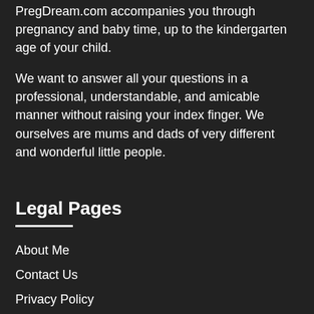PregDream.com accompanies you through pregnancy and baby time, up to the kindergarten age of your child.
We want to answer all your questions in a professional, understandable, and amicable manner without raising your index finger. We ourselves are mums and dads of very different and wonderful little people.
Legal Pages
About Me
Contact Us
Privacy Policy
Terms & Condition
Our editorial principles
Earning Disclaimer